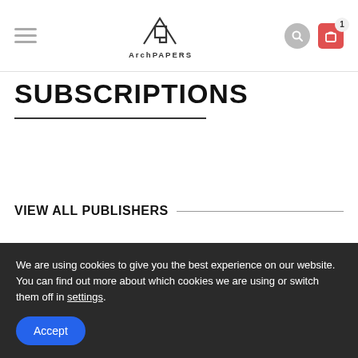[Figure (logo): ArchPAPERS logo with geometric triangular/arrow icon and text 'ArchPAPERS']
SUBSCRIPTIONS
VIEW ALL PUBLISHERS
Select a category
We are using cookies to give you the best experience on our website.
You can find out more about which cookies we are using or switch them off in settings.